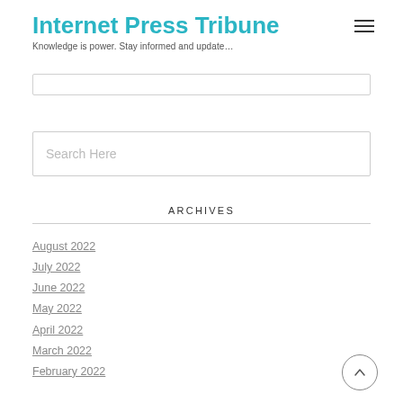Internet Press Tribune
Knowledge is power. Stay informed and update…
Search Here
ARCHIVES
August 2022
July 2022
June 2022
May 2022
April 2022
March 2022
February 2022